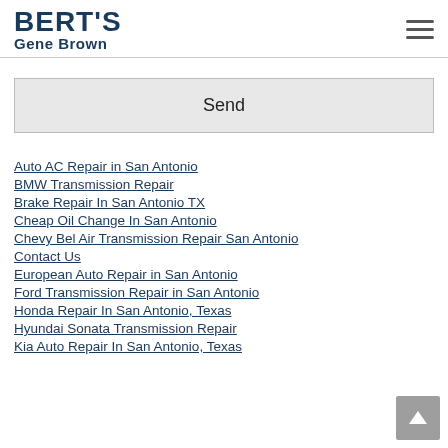BERT'S Gene Brown
Send
Auto AC Repair in San Antonio
BMW Transmission Repair
Brake Repair In San Antonio TX
Cheap Oil Change In San Antonio
Chevy Bel Air Transmission Repair San Antonio
Contact Us
European Auto Repair in San Antonio
Ford Transmission Repair in San Antonio
Honda Repair In San Antonio, Texas
Hyundai Sonata Transmission Repair
Kia Auto Repair In San Antonio, Texas